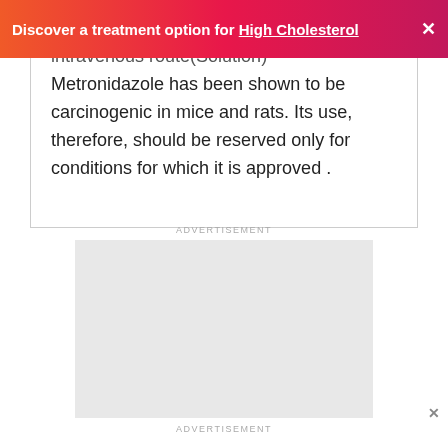Discover a treatment option for High Cholesterol ×
intravenous route(Solution)
Metronidazole has been shown to be carcinogenic in mice and rats. Its use, therefore, should be reserved only for conditions for which it is approved .
ADVERTISEMENT
[Figure (other): Advertisement placeholder box (gray rectangle)]
ADVERTISEMENT